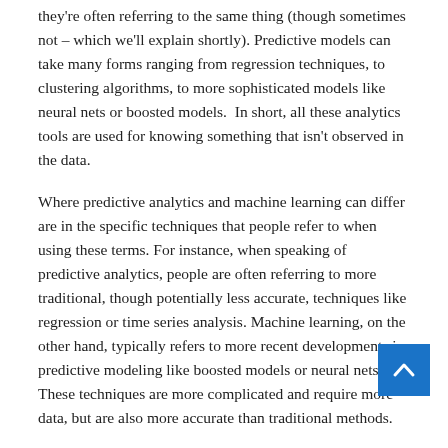they're often referring to the same thing (though sometimes not – which we'll explain shortly). Predictive models can take many forms ranging from regression techniques, to clustering algorithms, to more sophisticated models like neural nets or boosted models.  In short, all these analytics tools are used for knowing something that isn't observed in the data.
Where predictive analytics and machine learning can differ are in the specific techniques that people refer to when using these terms. For instance, when speaking of predictive analytics, people are often referring to more traditional, though potentially less accurate, techniques like regression or time series analysis. Machine learning, on the other hand, typically refers to more recent developments in predictive modeling like boosted models or neural nets. These techniques are more complicated and require more data, but are also more accurate than traditional methods.
The Machines are Alive! Artificial intelligence and Machine Learning
The definition of AI is the topic of much debate. However, for